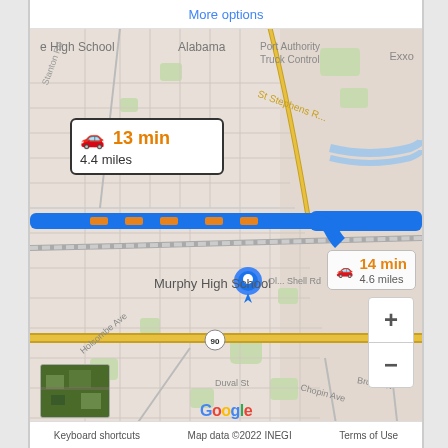[Figure (map): Google Maps screenshot showing driving directions in Mobile, Alabama area. Two route options shown: primary route (blue) 13 min / 4.4 miles and secondary route 14 min / 4.6 miles. Map shows Murphy High School, Alabama Port Authority Truck Control, various roads including St Stephens Rd, Stanton Rd, Holcombe Ave, Duval St. Route 90 visible. Zoom controls (+/-) in bottom right. Google logo and map footer with Keyboard shortcuts, Map data ©2022 INEGI, Terms of Use.]
More options
13 min
4.4 miles
14 min
4.6 miles
Murphy High School
Alabama Port Authority Truck Control
Exxo
Keyboard shortcuts   Map data ©2022 INEGI   Terms of Use